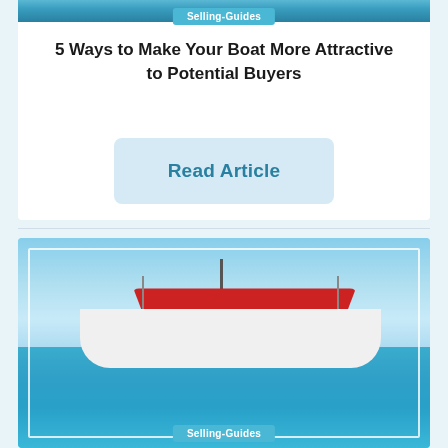Selling-Guides
5 Ways to Make Your Boat More Attractive to Potential Buyers
Read Article
[Figure (photo): Group of four young adults sitting on the back of a white sailboat with a red bimini top, on turquoise water, with a coastline in the background]
Selling-Guides